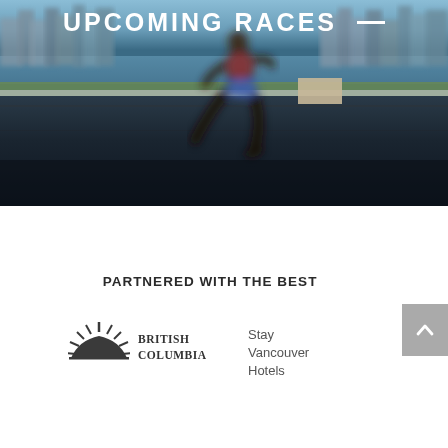[Figure (photo): Hero photo of a runner in motion (blurred) on a road with a city skyline and water in the background]
UPCOMING RACES —
PARTNERED WITH THE BEST
[Figure (logo): British Columbia logo with sun/mountain emblem and 'BRITISH COLUMBIA' text]
Stay
Vancouver
Hotels